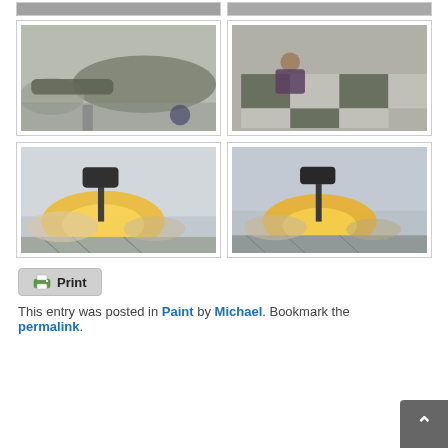[Figure (photo): Partial view of two photos at top of page (cropped)]
[Figure (photo): Aircraft fuselage/tail section painted in two-tone gray and dark green, on stand in a workshop]
[Figure (photo): Person working on a checkerboard-painted aircraft wing or surface, alternating gray and dark green panels]
[Figure (photo): Aircraft part under warm lamp light in a painted/taped enclosure, showing heat lamp setup during curing]
[Figure (photo): Similar heat lamp setup with aircraft part, slightly different angle, showing silver foil insulation]
Print
This entry was posted in Paint by Michael. Bookmark the permalink.